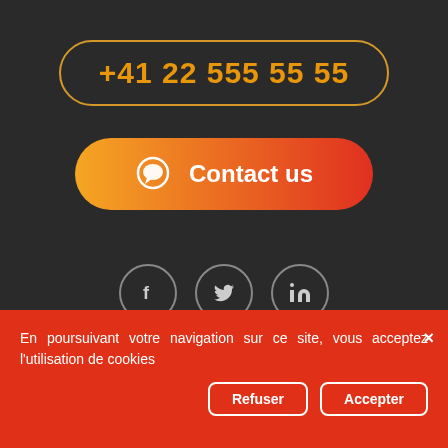+41 22 555 55 55
[Figure (other): Contact us button with chat icon and orange-to-red gradient]
[Figure (other): Social media icons: Facebook, Twitter, LinkedIn in dark circles]
En poursuivant votre navigation sur ce site, vous acceptez l'utilisation de cookies
Refuser
Accepter